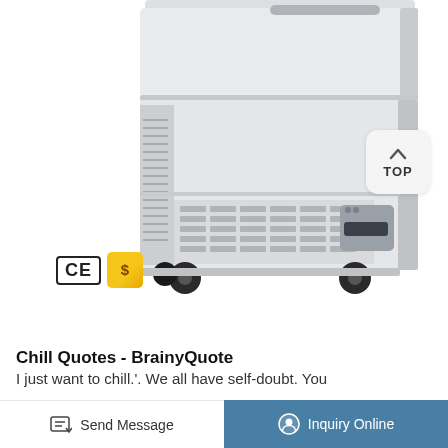[Figure (photo): A white laboratory chest freezer on wheels, showing the front and side panels with ventilation grilles and a control panel. CE and gold certification badges visible at bottom left. A 'TOP' button with an upward chevron icon is visible on the right side.]
Chill Quotes - BrainyQuote
I just want to chill.'. We all have self-doubt. You
Send Message   Inquiry Online